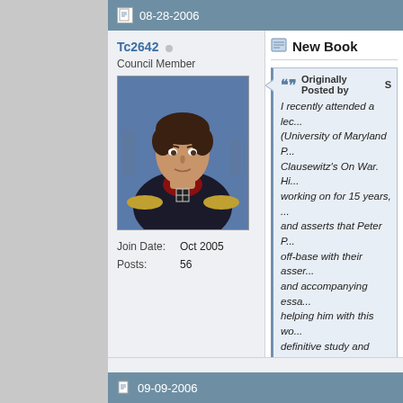08-28-2006
Tc2642
Council Member
Join Date: Oct 2005
Posts: 56
[Figure (photo): Portrait painting of a military officer (Clausewitz) in dark uniform with red collar and military decorations, against a blue background]
New Book
Originally Posted by S
I recently attended a lec... (University of Maryland P... Clausewitz's On War. Hi... working on for 15 years, ... and asserts that Peter P... off-base with their asser... and accompanying essa... helping him with this wo... definitive study and tran... work will teach you how ... what it means.
Does this mean I will have to sp... underlining and making notes o...
Do you know when the new boo...
09-09-2006